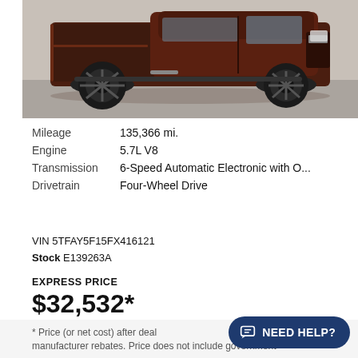[Figure (photo): Side view of a dark brown/maroon Toyota Tundra pickup truck with black off-road tires and black fender flares, parked on a concrete surface.]
| Mileage | 135,366 mi. |
| Engine | 5.7L V8 |
| Transmission | 6-Speed Automatic Electronic with O... |
| Drivetrain | Four-Wheel Drive |
VIN 5TFAY5F15FX416121
Stock E139263A
EXPRESS PRICE
$32,532*
* Price (or net cost) after deal manufacturer rebates. Price does not include government